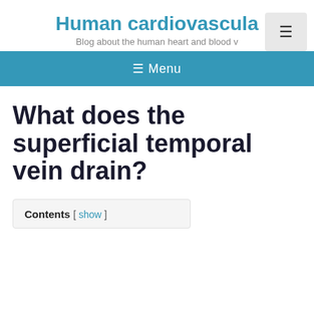Human cardiovascula...
Blog about the human heart and blood v...
☰ Menu
What does the superficial temporal vein drain?
Contents [ show ]